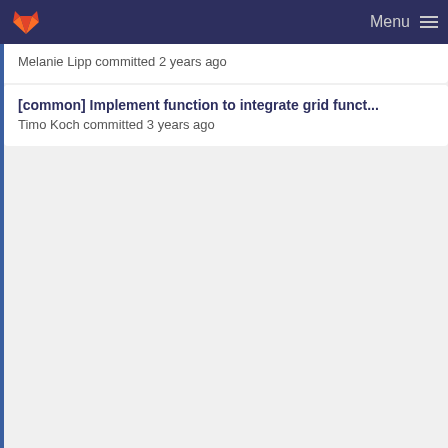Menu
Melanie Lipp committed 2 years ago
[common] Add scalar integration function based o...
Timo Koch committed 2 years ago
[common] Implement function to integrate grid funct...
Timo Koch committed 3 years ago